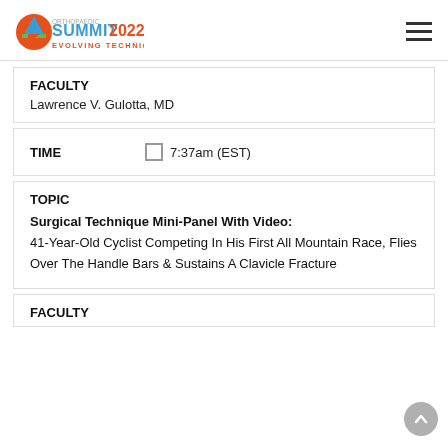[Figure (logo): OSEI Orthopaedic Summit 2022 Evolving Techniques logo with mountain graphic]
FACULTY
Lawrence V. Gulotta, MD
TIME
7:37am (EST)
TOPIC
Surgical Technique Mini-Panel With Video: 41-Year-Old Cyclist Competing In His First All Mountain Race, Flies Over The Handle Bars & Sustains A Clavicle Fracture
FACULTY